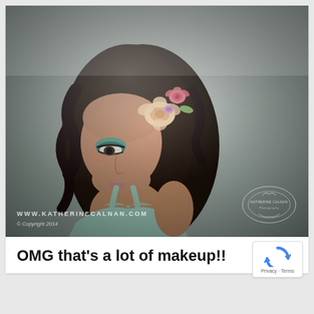[Figure (photo): A young Asian woman with dark curly hair adorned with pink and cream flowers, wearing a light blue/mint top, with teal eye makeup. She poses against a grey textured wallpaper background. Photo watermarked with WWW.KATHERINECALNAN.COM and © Copyright 2014.]
OMG that's a lot of makeup!!